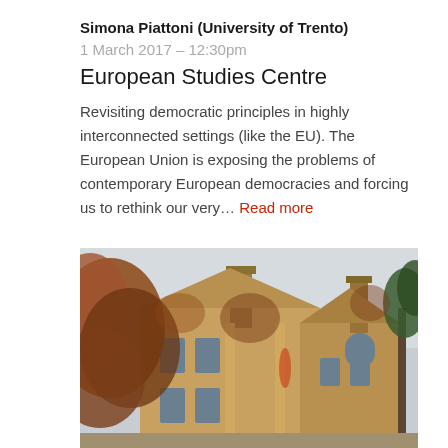Simona Piattoni (University of Trento)
1 March 2017 – 12:30pm
European Studies Centre
Revisiting democratic principles in highly interconnected settings (like the EU). The European Union is exposing the problems of contemporary European democracies and forcing us to rethink our very… Read more
[Figure (photo): Photograph of a historic stone building with Gothic architecture, covered in autumn ivy foliage, with chimneys and arched windows visible against a pale sky]